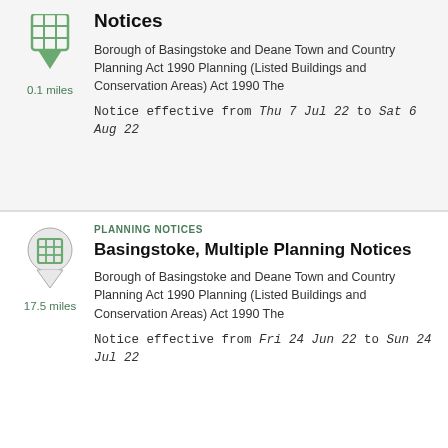Notices
Borough of Basingstoke and Deane Town and Country Planning Act 1990 Planning (Listed Buildings and Conservation Areas) Act 1990 The
Notice effective from Thu 7 Jul 22 to Sat 6 Aug 22
0.1 miles
PLANNING NOTICES
Basingstoke, Multiple Planning Notices
Borough of Basingstoke and Deane Town and Country Planning Act 1990 Planning (Listed Buildings and Conservation Areas) Act 1990 The
Notice effective from Fri 24 Jun 22 to Sun 24 Jul 22
17.5 miles